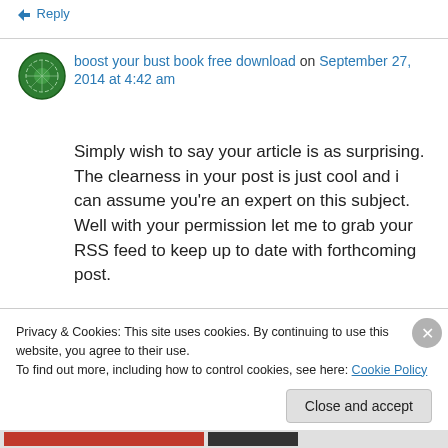↳ Reply
boost your bust book free download on September 27, 2014 at 4:42 am
Simply wish to say your article is as surprising. The clearness in your post is just cool and i can assume you’re an expert on this subject. Well with your permission let me to grab your RSS feed to keep up to date with forthcoming post.
Privacy & Cookies: This site uses cookies. By continuing to use this website, you agree to their use.
To find out more, including how to control cookies, see here: Cookie Policy
Close and accept